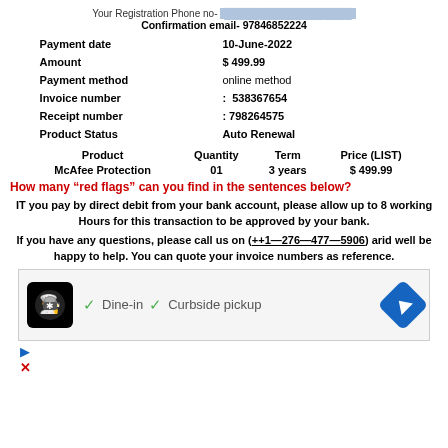Your Registration Phone no- [redacted]
Confirmation email- 97846852224
| Field | Value |
| --- | --- |
| Payment date | 10-June-2022 |
| Amount | $ 499.99 |
| Payment method | online method |
| Invoice number | : 538367654 |
| Receipt number | : 798264575 |
| Product Status | Auto Renewal |
| Product | Quantity | Term | Price (LIST) |
| --- | --- | --- | --- |
| McAfee Protection | 01 | 3 years | $ 499.99 |
How many “red flags” can you find in the sentences below?
IT you pay by direct debit from your bank account, please allow up to 8 working Hours for this transaction to be approved by your bank.
If you have any questions, please call us on (++1—276—477—5906) arid well be happy to help. You can quote your invoice numbers as reference.
[Figure (screenshot): Advertisement showing a restaurant logo, dine-in and curbside pickup checkmarks, a navigation arrow button, a play button, and a close button.]